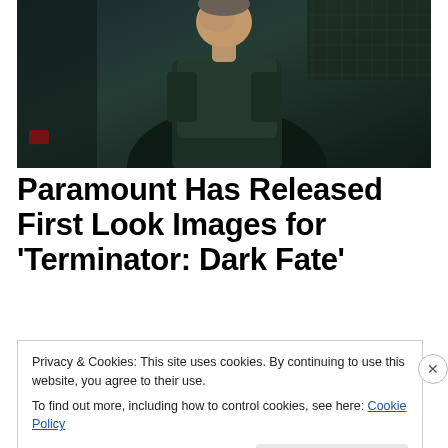[Figure (photo): A man in a dark green tactical jacket, looking upward with a serious expression, in a dimly lit industrial or vehicle interior setting — a still from Terminator: Dark Fate.]
Paramount Has Released First Look Images for ‘Terminator: Dark Fate’
Privacy & Cookies: This site uses cookies. By continuing to use this website, you agree to their use.
To find out more, including how to control cookies, see here: Cookie Policy